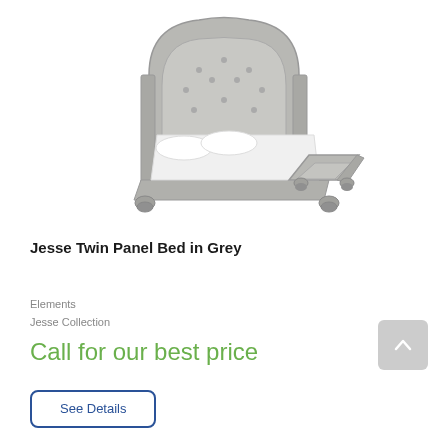[Figure (photo): Grey twin panel bed with tufted arched headboard and panel footboard, shown in angled perspective view with white bedding]
Jesse Twin Panel Bed in Grey
Elements
Jesse Collection
Call for our best price
See Details